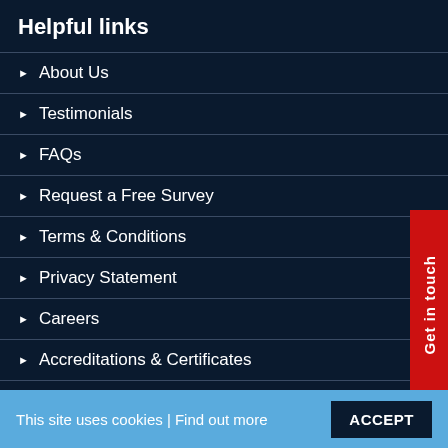Helpful links
About Us
Testimonials
FAQs
Request a Free Survey
Terms & Conditions
Privacy Statement
Careers
Accreditations & Certificates
Questionnaire
Trade Garage Doors
Get in touch
This site uses cookies | Find out more
ACCEPT